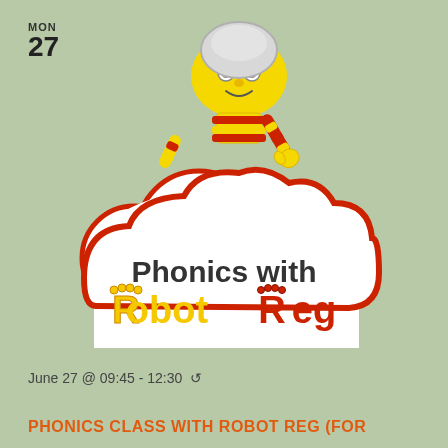MON
27
[Figure (illustration): Cartoon robot character Robot Reg - a yellow smiley robot with a silver helmet and glasses, wearing red and yellow striped arms, waving one hand, sitting behind a cloud-shaped sign that reads 'Phonics with Robot Reg'. The cloud has a red border and white fill. The R in Robot and Reg are stylized yellow and red robot characters respectively.]
June 27 @ 09:45 - 12:30 ↺
PHONICS CLASS WITH ROBOT REG (FOR